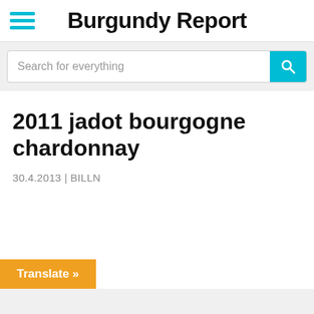Burgundy Report
Search for everything
2011 jadot bourgogne chardonnay
30.4.2013 | BILLN
Translate »